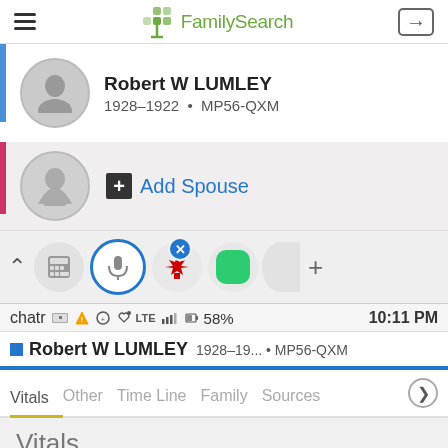FamilySearch navigation bar
[Figure (screenshot): FamilySearch family tree showing Robert W LUMLEY (1928-1922, MP56-QXM) with avatar, blue sidebar, and Add Spouse button with female avatar]
[Figure (screenshot): App switcher bar with chevron up, calculator icon, FamilySearch microphone icon (active, with blue X close badge), Canada maple leaf icon, green app icon, partial icon, and plus button]
chatr ▲ ⊕ * LTE .all 🔋 58% 10:11 PM
Robert W LUMLEY 1928-19... · MP56-QXM
Vitals  Other  Time Line  Family  Sources
Vitals